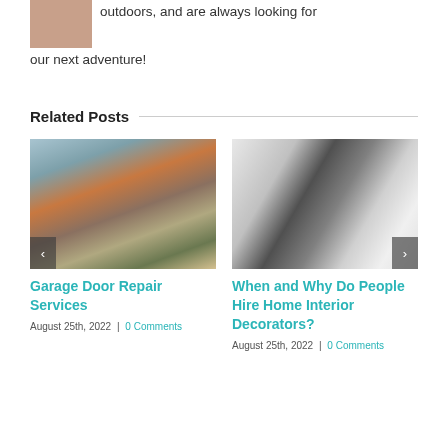[Figure (photo): Small avatar/profile photo of a person]
outdoors, and are always looking for our next adventure!
Related Posts
[Figure (photo): Exterior photo of a large modern house with orange accents, stone facade, and landscaping]
Garage Door Repair Services
August 25th, 2022 | 0 Comments
[Figure (photo): Interior living room photo with dark sofa, chairs, and white rug]
When and Why Do People Hire Home Interior Decorators?
August 25th, 2022 | 0 Comments